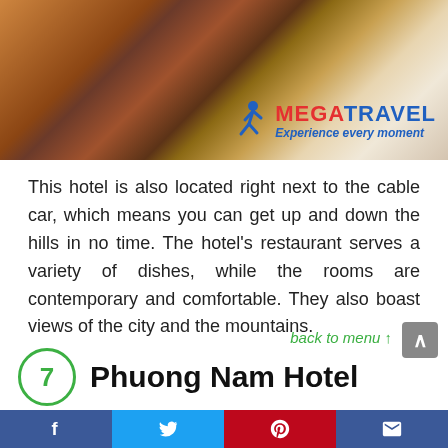[Figure (photo): Hotel room interior with wooden floor, bed with white pillow and blue/dark bedding, orange/red decorative cushion. MegaTravel logo overlay with running figure icon, red MEGA and blue TRAVEL text, tagline 'Experience every moment']
This hotel is also located right next to the cable car, which means you can get up and down the hills in no time. The hotel’s restaurant serves a variety of dishes, while the rooms are contemporary and comfortable. They also boast views of the city and the mountains.
back to menu ↑
7  Phuong Nam Hotel